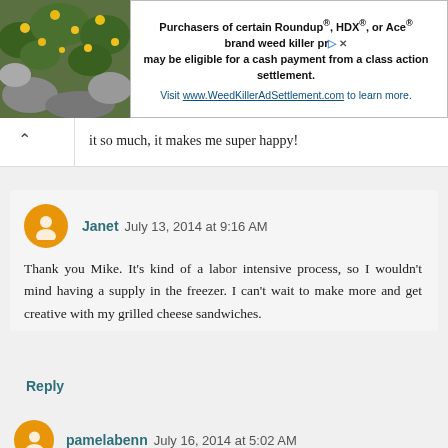[Figure (screenshot): Advertisement banner: photo of yellow flowers on the left, text about Roundup, HDX, or Ace brand weed killer class action settlement on the right]
it so much, it makes me super happy!
Janet July 13, 2014 at 9:16 AM
Thank you Mike. It's kind of a labor intensive process, so I wouldn't mind having a supply in the freezer. I can't wait to make more and get creative with my grilled cheese sandwiches.
Reply
pamelabenn July 16, 2014 at 5:02 AM